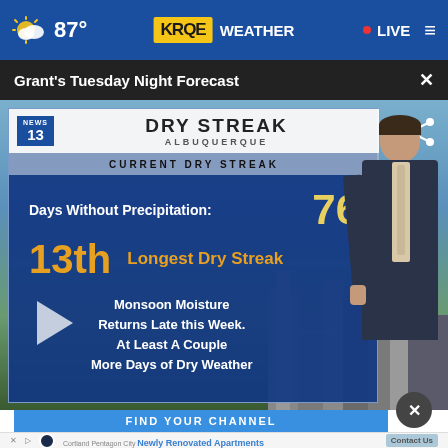87° KRQE WEATHER LIVE
Grant's Tuesday Night Forecast
[Figure (screenshot): Weather broadcast screenshot showing DRY STREAK ALBUQUERQUE graphic with CURRENT DRY STREAK panel. Days Without Precipitation: 76, 13th Longest Dry Streak. Text: Monsoon Moisture Returns Late this Week. At Least A Couple More Days of Dry Weather. News 13 logo visible. Weathercaster in suit standing in front of cityscape.]
FIND YOUR CHANNEL
Cortland Pentagon City
Newly Renovated Apartments
Contact Us